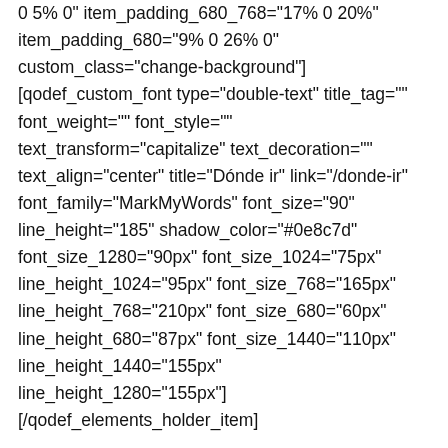0 5% 0" item_padding_680_768="17% 0 20%"
item_padding_680="9% 0 26% 0"
custom_class="change-background"]
[qodef_custom_font type="double-text" title_tag=""
font_weight="" font_style=""
text_transform="capitalize" text_decoration=""
text_align="center" title="Dónde ir" link="/donde-ir"
font_family="MarkMyWords" font_size="90"
line_height="185" shadow_color="#0e8c7d"
font_size_1280="90px" font_size_1024="75px"
line_height_1024="95px" font_size_768="165px"
line_height_768="210px" font_size_680="60px"
line_height_680="87px" font_size_1440="110px"
line_height_1440="155px" line_height_1280="155px"]
[/qodef_elements_holder_item]